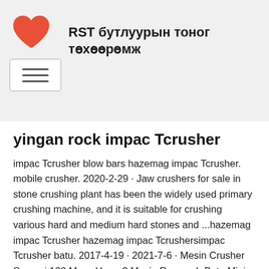RST бутлуурын тоног төхөөрөмж
yingan rock impac Tcrusher
impac Tcrusher blow bars hazemag impac Tcrusher. mobile crusher. 2020-2-29 · Jaw crushers for sale in stone crushing plant has been the widely used primary crushing machine, and it is suitable for crushing various hard and medium hard stones and ...hazemag impac Tcrusher hazemag impac Tcrushersimpac Tcrusher batu. 2017-4-19 · 2021-7-6 · Mesin Crusher Sampai 100 Mess Harga2 Mesin Pemecah Batu Mini Mess 200. 80 t h mesin batu crusher mesin pemecah batu stone crusher china products harga mesin crusher